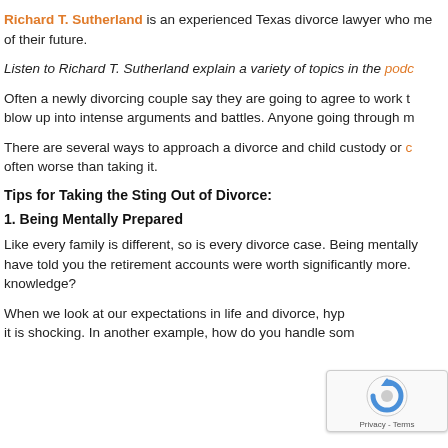Richard T. Sutherland is an experienced Texas divorce lawyer who me of their future.
Listen to Richard T. Sutherland explain a variety of topics in the podc
Often a newly divorcing couple say they are going to agree to work t blow up into intense arguments and battles. Anyone going through m
There are several ways to approach a divorce and child custody or c often worse than taking it.
Tips for Taking the Sting Out of Divorce:
1. Being Mentally Prepared
Like every family is different, so is every divorce case. Being mentally have told you the retirement accounts were worth significantly more. knowledge?
When we look at our expectations in life and divorce, hyp it is shocking. In another example, how do you handle som